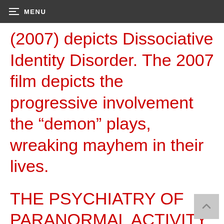MENU
(2007) depicts Dissociative Identity Disorder. The 2007 film depicts the progressive involvement the “demon” plays, wreaking mayhem in their lives.
THE PSYCHIATRY OF PARANORMAL ACTIVITY